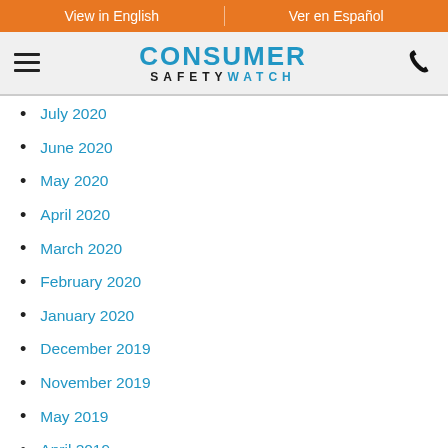View in English | Ver en Español
[Figure (logo): Consumer Safety Watch logo with hamburger menu and phone icon]
July 2020
June 2020
May 2020
April 2020
March 2020
February 2020
January 2020
December 2019
November 2019
May 2019
April 2019
January 2019
September 2018